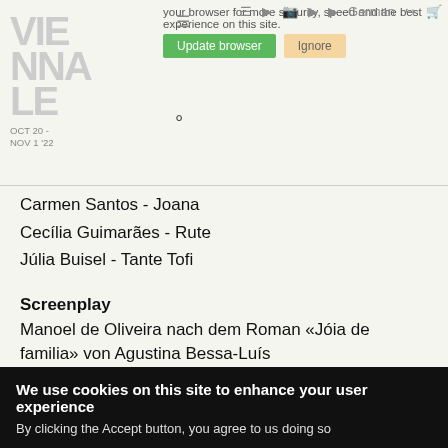your browser for more security, speed and the best experience on this site. Update browser | Ignore
[Figure (logo): Viennale logo with dates OCT 20 - NOV 1 '22]
Carmen Santos - Joana
Cecília Guimarães - Rute
Júlia Buisel - Tante Tofi
Screenplay
Manoel de Oliveira nach dem Roman «Jóia de familia» von Agustina Bessa-Luís
Sound
Henri Maïkoff
We use cookies on this site to enhance your user experience
By clicking the Accept button, you agree to us doing so